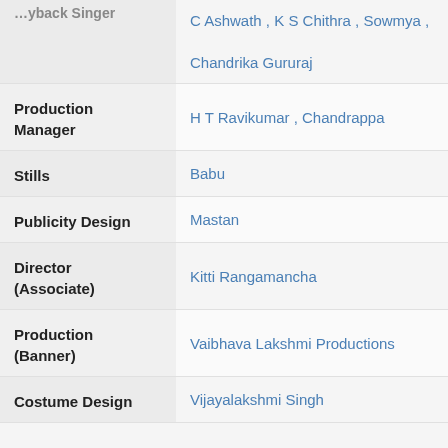| Role | Name |
| --- | --- |
| Playback Singer | C Ashwath , K S Chithra , Sowmya , Chandrika Gururaj |
| Production Manager | H T Ravikumar , Chandrappa |
| Stills | Babu |
| Publicity Design | Mastan |
| Director (Associate) | Kitti Rangamancha |
| Production (Banner) | Vaibhava Lakshmi Productions |
| Costume Design | Vijayalakshmi Singh |